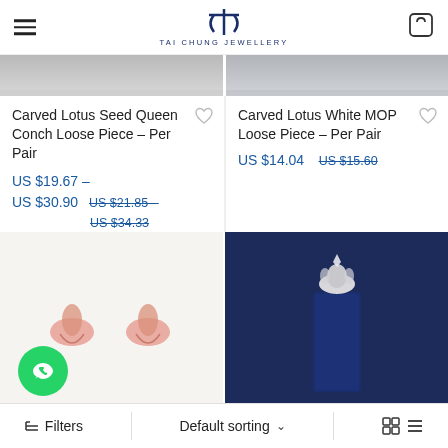TAI CHUNG JEWELLERY
[Figure (photo): Partial product image top-left: grey metallic surface]
[Figure (photo): Partial product image top-right: grey metallic surface]
Carved Lotus Seed Queen Conch Loose Piece – Per Pair
US $19.67 – US $30.90  US $21.85 – US $34.33
Carved Lotus White MOP Loose Piece – Per Pair
US $14.04  US $15.60
[Figure (photo): Pink carved lotus earrings on white fur background]
[Figure (photo): Dark blue rectangular pendant with silver floral top on navy background]
Filters   Default sorting   grid/list view